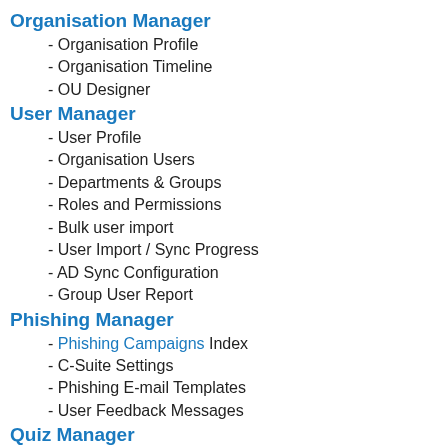Organisation Manager
- Organisation Profile
- Organisation Timeline
- OU Designer
User Manager
- User Profile
- Organisation Users
- Departments & Groups
- Roles and Permissions
- Bulk user import
- User Import / Sync Progress
- AD Sync Configuration
- Group User Report
Phishing Manager
- Phishing Campaigns Index
- C-Suite Settings
- Phishing E-mail Templates
- User Feedback Messages
Quiz Manager
- Quiz Campaigns
- Quiz Definitions
Training Manager
- Training Campaigns
- E-mail Templates
- Training Messages